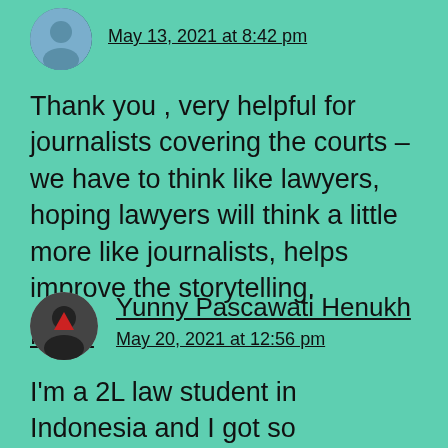May 13, 2021 at 8:42 pm
Thank you , very helpful for journalists covering the courts – we have to think like lawyers, hoping lawyers will think a little more like journalists, helps improve the storytelling.
Reply
[Figure (photo): Circular avatar photo of a person]
Yunny Pascawati Henukh
May 20, 2021 at 12:56 pm
I'm a 2L law student in Indonesia and I got so